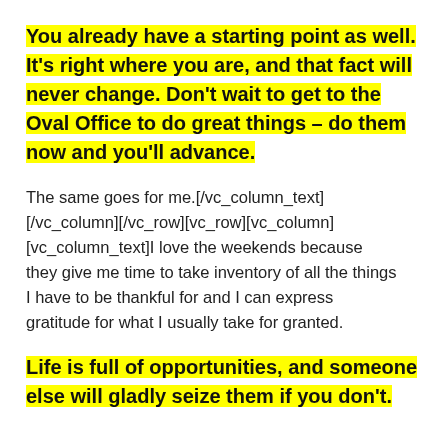You already have a starting point as well. It's right where you are, and that fact will never change. Don't wait to get to the Oval Office to do great things – do them now and you'll advance.
The same goes for me.[/vc_column_text][/vc_column][/vc_row][vc_row][vc_column][vc_column_text]I love the weekends because they give me time to take inventory of all the things I have to be thankful for and I can express gratitude for what I usually take for granted.
Life is full of opportunities, and someone else will gladly seize them if you don't.